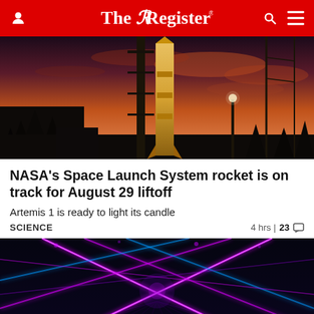The Register
[Figure (photo): NASA Space Launch System rocket on launch pad at sunset with orange and purple sky]
NASA's Space Launch System rocket is on track for August 29 liftoff
Artemis 1 is ready to light its candle
SCIENCE   4 hrs | 23
[Figure (photo): Abstract neon purple and blue laser light beams crossing in a dark arena or stage setting]